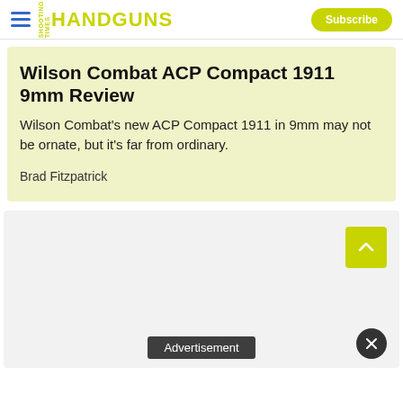HANDGUNS | Subscribe
Wilson Combat ACP Compact 1911 9mm Review
Wilson Combat's new ACP Compact 1911 in 9mm may not be ornate, but it's far from ordinary.
Brad Fitzpatrick
[Figure (other): Advertisement placeholder area with scroll-to-top button and close button]